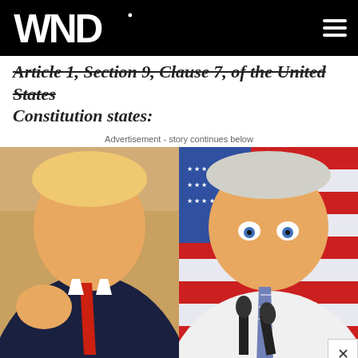WND
Article 1, Section 9, Clause 7, of the United States Constitution states:
Advertisement - story continues below
[Figure (photo): Split image showing two political figures side by side — left person in dark suit with red tie making a fist gesture, right person in white shirt with striped tie speaking at microphones in front of American flag backdrop]
Advertisement
[Figure (infographic): Advertisement strip: accessibility icon on left, image of albino animal in center, text reading '10 Incredibly Looking Albino Animals']